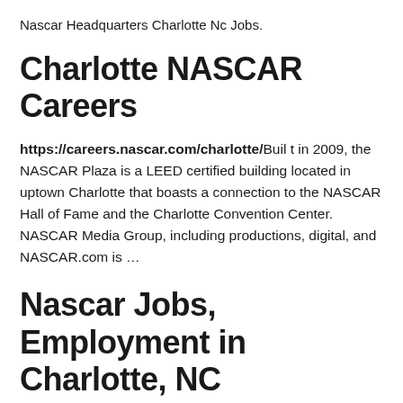Nascar Headquarters Charlotte Nc Jobs.
Charlotte NASCAR Careers
https://careers.nascar.com/charlotte/Built in 2009, the NASCAR Plaza is a LEED certified building located in uptown Charlotte that boasts a connection to the NASCAR Hall of Fame and the Charlotte Convention Center. NASCAR Media Group, including productions, digital, and NASCAR.com is …
Nascar Jobs, Employment in Charlotte, NC